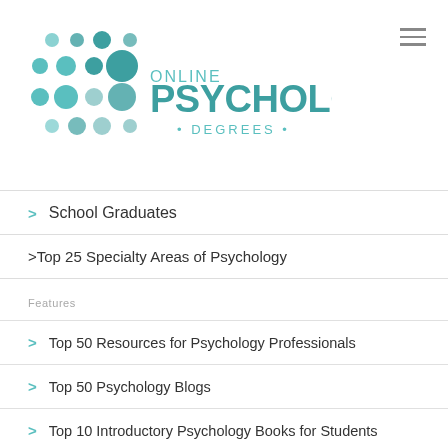[Figure (logo): Online Psychology Degrees logo with teal dot-grid pattern and text]
School Graduates
> Top 25 Specialty Areas of Psychology
Features
> Top 50 Resources for Psychology Professionals
> Top 50 Psychology Blogs
> Top 10 Introductory Psychology Books for Students